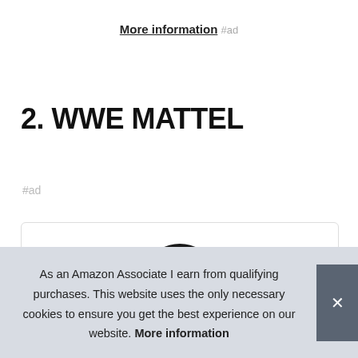More information #ad
2. WWE MATTEL
#ad
[Figure (photo): WWE Mattel action figure — head and upper torso visible above a white product card box with rounded border]
As an Amazon Associate I earn from qualifying purchases. This website uses the only necessary cookies to ensure you get the best experience on our website. More information